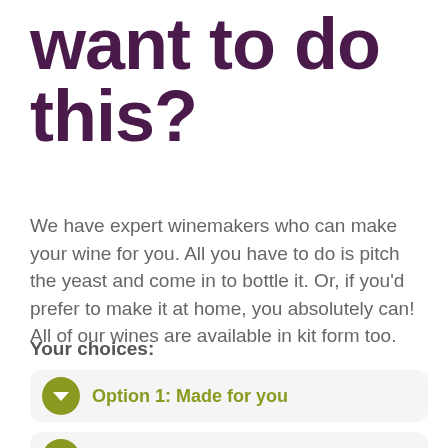want to do this?
We have expert winemakers who can make your wine for you. All you have to do is pitch the yeast and come in to bottle it. Or, if you'd prefer to make it at home, you absolutely can! All of our wines are available in kit form too.
Your choices:
Option 1: Made for you